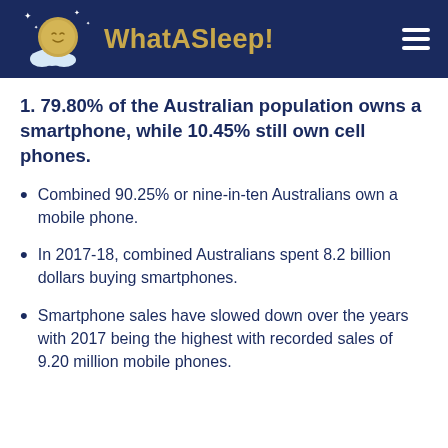WhatASleep!
1. 79.80% of the Australian population owns a smartphone, while 10.45% still own cell phones.
Combined 90.25% or nine-in-ten Australians own a mobile phone.
In 2017-18, combined Australians spent 8.2 billion dollars buying smartphones.
Smartphone sales have slowed down over the years with 2017 being the highest with recorded sales of 9.20 million mobile phones.